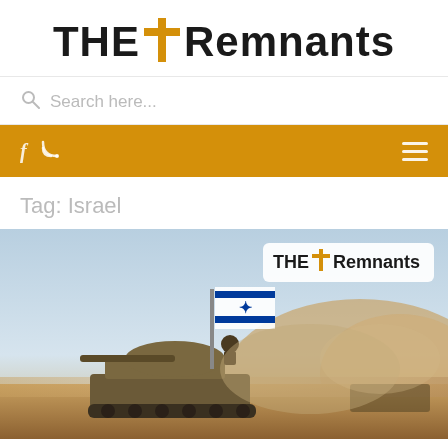THE + Remnants
Search here...
Navigation bar with social icons and menu
Tag: Israel
[Figure (photo): Military tank with Israeli flag flying, dusty desert scene with smoke, with THE + Remnants watermark logo overlay in top right corner]